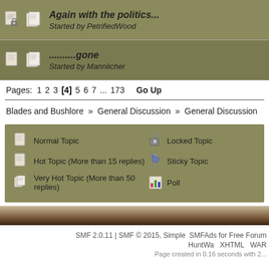Again with the politics... Started by PetrifiedWood
..........gone Started by Mannlicher
Pages: 1 2 3 [4] 5 6 7 ... 173  Go Up
Blades and Bushlore » General Discussion » General Discussion
Normal Topic | Locked Topic | Hot Topic (More than 15 replies) | Sticky Topic | Very Hot Topic (More than 50 replies) | Poll
SMF 2.0.11 | SMF © 2015, Simple SMFAds for Free Forum HuntWa  XHTML  WAR Page created in 0.16 seconds with 2...